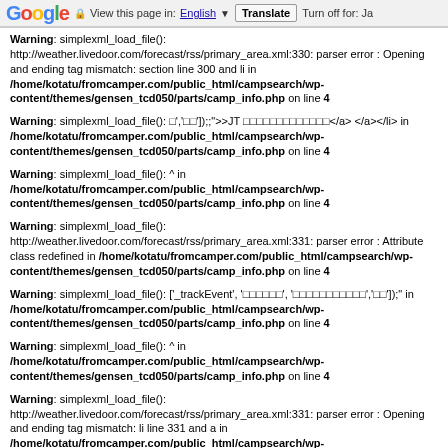Google  View this page in: English ▼  Translate  Turn off for: Ja
Warning: simplexml_load_file(): http://weather.livedoor.com/forecast/rss/primary_area.xml:330: parser error : Opening and ending tag mismatch: section line 300 and li in /home/kotatu/fromcamper.com/public_html/campsearch/wp-content/themes/gensen_tcd050/parts/camp_info.php on line 4
Warning: simplexml_load_file(): □','□□']);>">JT □□□□□□□□□□□□□</a> </a></li> in /home/kotatu/fromcamper.com/public_html/campsearch/wp-content/themes/gensen_tcd050/parts/camp_info.php on line 4
Warning: simplexml_load_file(): ^ in /home/kotatu/fromcamper.com/public_html/campsearch/wp-content/themes/gensen_tcd050/parts/camp_info.php on line 4
Warning: simplexml_load_file(): http://weather.livedoor.com/forecast/rss/primary_area.xml:331: parser error : Attribute class redefined in /home/kotatu/fromcamper.com/public_html/campsearch/wp-content/themes/gensen_tcd050/parts/camp_info.php on line 4
Warning: simplexml_load_file(): ['_trackEvent', '□□□□□□', '□□□□□□□□□□□','□□']);}" in /home/kotatu/fromcamper.com/public_html/campsearch/wp-content/themes/gensen_tcd050/parts/camp_info.php on line 4
Warning: simplexml_load_file(): ^ in /home/kotatu/fromcamper.com/public_html/campsearch/wp-content/themes/gensen_tcd050/parts/camp_info.php on line 4
Warning: simplexml_load_file(): http://weather.livedoor.com/forecast/rss/primary_area.xml:331: parser error : Opening and ending tag mismatch: li line 331 and a in /home/kotatu/fromcamper.com/public_html/campsearch/wp-content/themes/gensen_tcd050/parts/camp_info.php on line 4